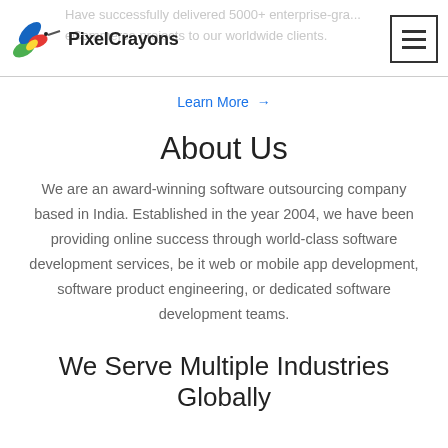PixelCrayons — Have successfully delivered 5000+ enterprise-grade eCommerce projects to our worldwide clients.
Learn More →
About Us
We are an award-winning software outsourcing company based in India. Established in the year 2004, we have been providing online success through world-class software development services, be it web or mobile app development, software product engineering, or dedicated software development teams.
We Serve Multiple Industries Globally